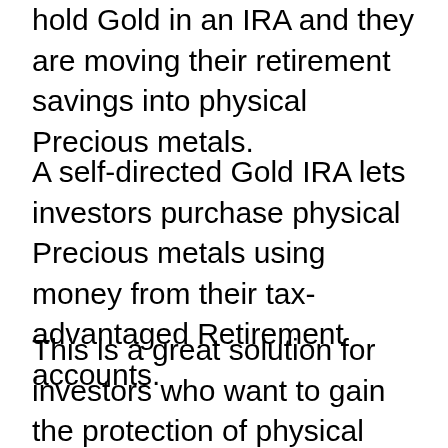hold Gold in an IRA and they are moving their retirement savings into physical Precious metals.
A self-directed Gold IRA lets investors purchase physical Precious metals using money from their tax-advantaged Retirement accounts.
This is a great solution for investors who want to gain the protection of physical Gold without adding any new money to their retirement savings.